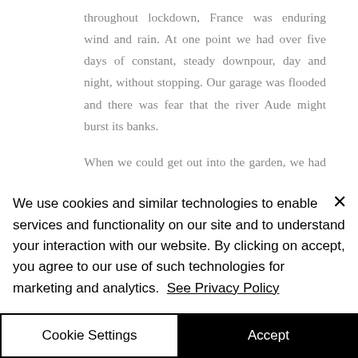throughout lockdown, France was enduring wind and rain. At one point we had over five days of constant, steady downpour, day and night, without stopping. Our garage was flooded and there was fear that the river Aude might burst its banks.
When we could get out into the garden, we had to be resourceful about filling flower beds and containers. With garden centres closed, and no idea when they would reopen, we could only take cuttings from existing
We use cookies and similar technologies to enable services and functionality on our site and to understand your interaction with our website. By clicking on accept, you agree to our use of such technologies for marketing and analytics. See Privacy Policy